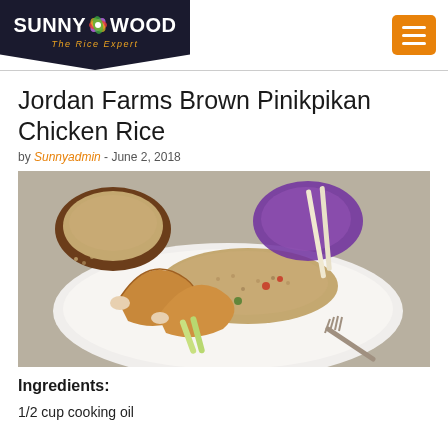[Figure (logo): Sunnywood The Rice Expert logo on dark navy background with colorful leaf icon]
Jordan Farms Brown Pinikpikan Chicken Rice
by Sunnyadmin - June 2, 2018
[Figure (photo): A plated dish of brown rice with pinikpikan chicken legs on a white plate, garnished with cucumber sticks and greens, with a wooden bowl of brown rice in the background]
Ingredients:
1/2 cup cooking oil